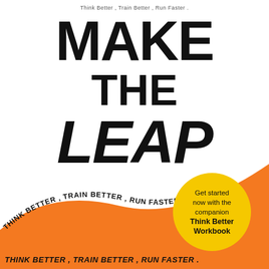Think Better, Train Better, Run Faster.
MAKE THE LEAP
[Figure (illustration): Orange swoosh graphic with curved text 'THINK BETTER, TRAIN BETTER, RUN FASTER.' arcing over it, and a yellow circle with text 'Get started now with the companion Think Better Workbook']
Get started now with the companion Think Better Workbook